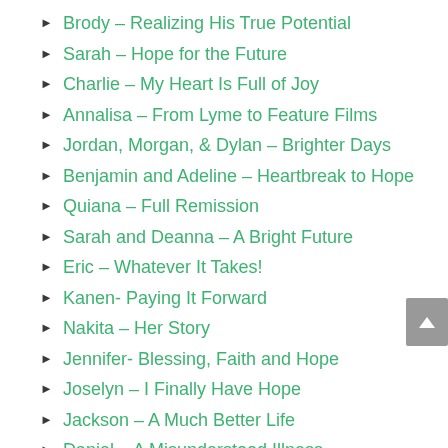Brody – Realizing His True Potential
Sarah – Hope for the Future
Charlie – My Heart Is Full of Joy
Annalisa – From Lyme to Feature Films
Jordan, Morgan, & Dylan – Brighter Days
Benjamin and Adeline – Heartbreak to Hope
Quiana – Full Remission
Sarah and Deanna – A Bright Future
Eric – Whatever It Takes!
Kanen- Paying It Forward
Nakita – Her Story
Jennifer- Blessing, Faith and Hope
Joselyn – I Finally Have Hope
Jackson – A Much Better Life
Daniel – A Misunderstood Illness
Emma- Staying Strong